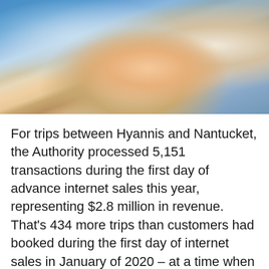[Figure (photo): A child with blonde hair, eyes closed and smiling, wearing a light blue shirt, being attended to (possibly on a boat or ferry). Blue and white tones in background suggesting a maritime/water setting.]
For trips between Hyannis and Nantucket, the Authority processed 5,151 transactions during the first day of advance internet sales this year, representing $2.8 million in revenue. That's 434 more trips than customers had booked during the first day of internet sales in January of 2020 – at a time when most people were still unaware of COVID-19.